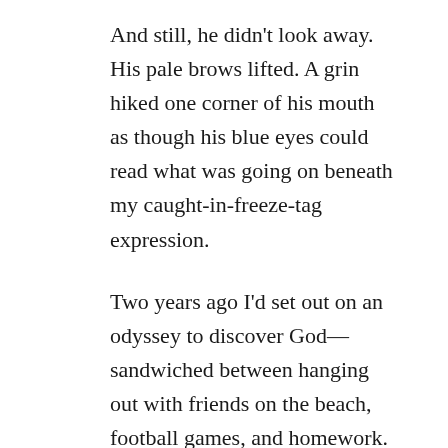And still, he didn't look away. His pale brows lifted. A grin hiked one corner of his mouth as though his blue eyes could read what was going on beneath my caught-in-freeze-tag expression.
Two years ago I'd set out on an odyssey to discover God—sandwiched between hanging out with friends on the beach, football games, and homework. Losing Dad to divorce had cut off my angst at its source, but it left me hungry for something more. Deep down in my gut, I knew it was God. I'd tried Mass every morning, said the rosary, even taught second grade Catechism last year.